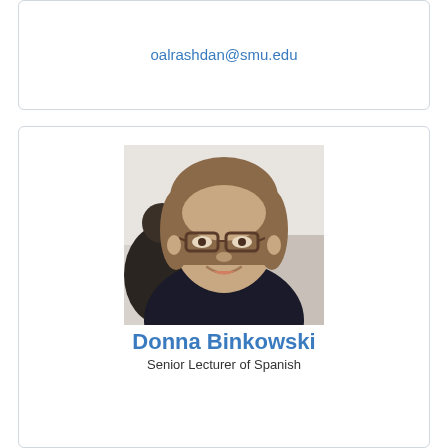oalrashdan@smu.edu
[Figure (photo): Headshot photo of Donna Binkowski, a woman with shoulder-length brown hair wearing glasses and a dark top, smiling, in a classroom setting]
Donna Binkowski
Senior Lecturer of Spanish